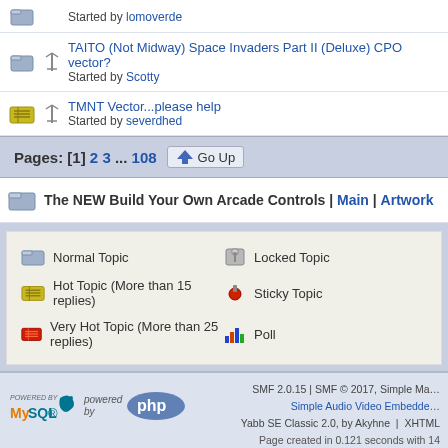TAITO (Not Midway) Space Invaders Part II (Deluxe) CPO vector? Started by Scotty
TMNT Vector...please help Started by severdhed
Pages: [1] 2 3 ... 108  Go Up
The NEW Build Your Own Arcade Controls | Main | Artwork
Normal Topic   Locked Topic   Hot Topic (More than 15 replies)   Sticky Topic   Very Hot Topic (More than 25 replies)   Poll
SMF 2.0.15 | SMF © 2017, Simple Machines | Simple Audio Video Embedder | Yabb SE Classic 2.0, by Akyhne | XHTML | Page created in 0.121 seconds with 14